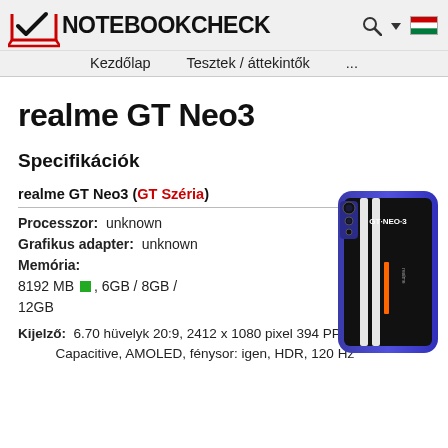NOTEBOOKCHECK — Kezdőlap  Tesztek / áttekintők  ...
realme GT Neo3
Specifikációk
realme GT Neo3 (GT Széria)
Processzor:  unknown
Grafikus adapter:  unknown
Memória:
8192 MB ■, 6GB / 8GB / 12GB
[Figure (photo): realme GT Neo3 smartphone in blue/purple color with white stripes on the back, GT NEO3 branding visible]
Kijelző:  6.70 hüvelyk 20:9, 2412 x 1080 pixel 394 PPI, Capacitive, AMOLED, fénysor: igen, HDR, 120 Hz